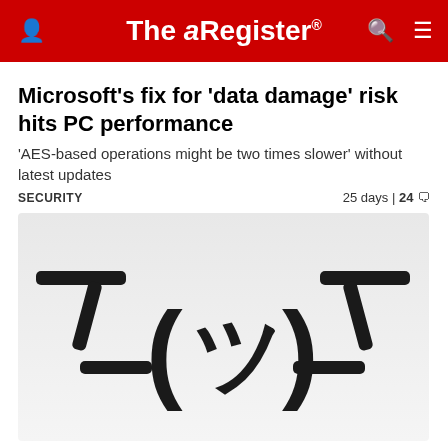The Register
Microsoft's fix for 'data damage' risk hits PC performance
'AES-based operations might be two times slower' without latest updates
SECURITY    25 days | 24
[Figure (illustration): Shrug emoticon ¯\_(ツ)_/¯ rendered as large bold characters on a light grey gradient background]
Microsoft open-sources its emojis as part of new...